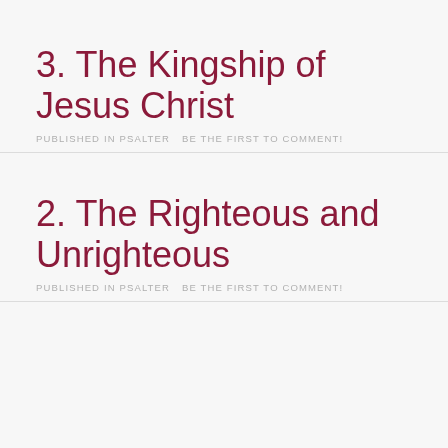3. The Kingship of Jesus Christ
PUBLISHED IN PSALTER    BE THE FIRST TO COMMENT!
2. The Righteous and Unrighteous
PUBLISHED IN PSALTER    BE THE FIRST TO COMMENT!